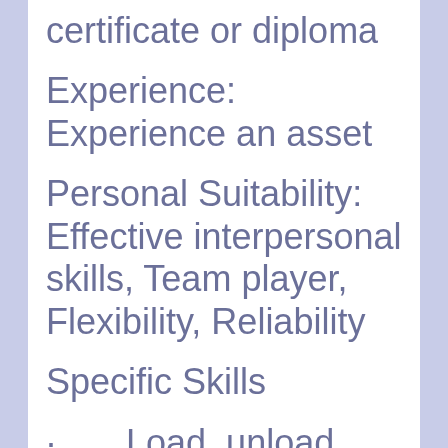Education: No degree, certificate or diploma
Experience: Experience an asset
Personal Suitability: Effective interpersonal skills, Team player, Flexibility, Reliability
Specific Skills
· Load, unload and transport construction materials,